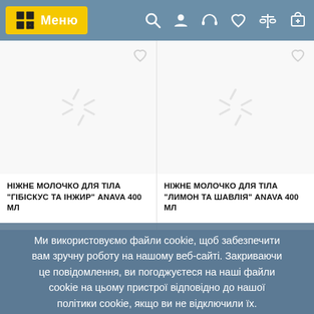[Figure (screenshot): Navigation bar with yellow menu button showing grid icon and 'Меню' text, plus icons for search, user, headset, heart, scales, and cart]
[Figure (screenshot): Product card: НІЖНЕ МОЛОЧКО ДЛЯ ТІЛА 'ГІБІСКУС ТА ІНЖИР' ANAVA 400 МЛ with loading spinner and heart icon]
[Figure (screenshot): Product card: НІЖНЕ МОЛОЧКО ДЛЯ ТІЛА 'ЛИМОН ТА ШАВЛІЯ' ANAVA 400 МЛ with loading spinner and heart icon]
Ми використовуємо файли cookie, щоб забезпечити вам зручну роботу на нашому веб-сайті. Закриваючи це повідомлення, ви погоджуєтеся на наші файли cookie на цьому пристрої відповідно до нашої політики cookie, якщо ви не відключили їх.
OK